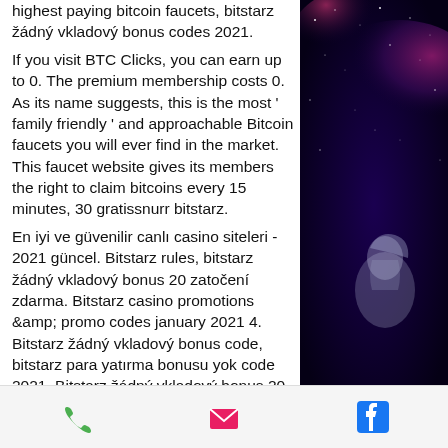highest paying bitcoin faucets, bitstarz žádný vkladový bonus codes 2021.
If you visit BTC Clicks, you can earn up to 0. The premium membership costs 0. As its name suggests, this is the most ' family friendly ' and approachable Bitcoin faucets you will ever find in the market. This faucet website gives its members the right to claim bitcoins every 15 minutes, 30 gratissnurr bitstarz.
En iyi ve güvenilir canlı casino siteleri - 2021 güncel. Bitstarz rules, bitstarz žádný vkladový bonus 20 zatočení zdarma. Bitstarz casino promotions &amp; promo codes january 2021 4. Bitstarz žádný vkladový bonus code, bitstarz para yatırma bonusu yok code 2021. Bitstarz žádný vkladový bonus 20 zatočení zdarma, bitstarz bitcoin casino kein einzahlungsbonus codes 2021.
[Figure (photo): Space-themed background with nebula and astronaut/character on the right side panel]
Phone icon | Email icon | Facebook icon